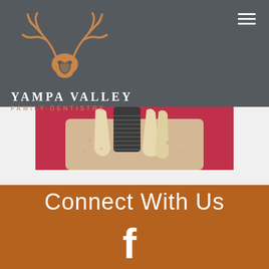[Figure (logo): Yampa Valley Family Dentistry logo with elk skull and antlers in orange/brown color on dark gray header background]
[Figure (photo): Close-up cross-section illustration of a dental implant in jaw bone showing screw implant and surrounding teeth]
Connect With Us
[Figure (illustration): Facebook social media icon (f) in white on orange background]